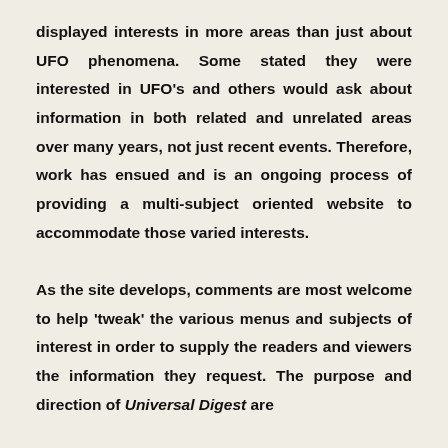displayed interests in more areas than just about UFO phenomena. Some stated they were interested in UFO's and others would ask about information in both related and unrelated areas over many years, not just recent events. Therefore, work has ensued and is an ongoing process of providing a multi-subject oriented website to accommodate those varied interests.

As the site develops, comments are most welcome to help 'tweak' the various menus and subjects of interest in order to supply the readers and viewers the information they request. The purpose and direction of Universal Digest are